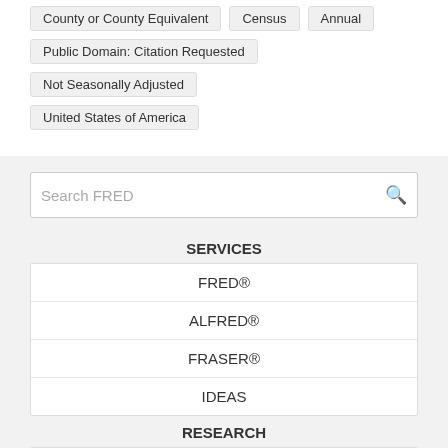County or County Equivalent
Census
Annual
Public Domain: Citation Requested
Not Seasonally Adjusted
United States of America
Search FRED
SERVICES
FRED®
ALFRED®
FRASER®
IDEAS
RESEARCH
Eighth District Economy
Working Papers
Events
Publications